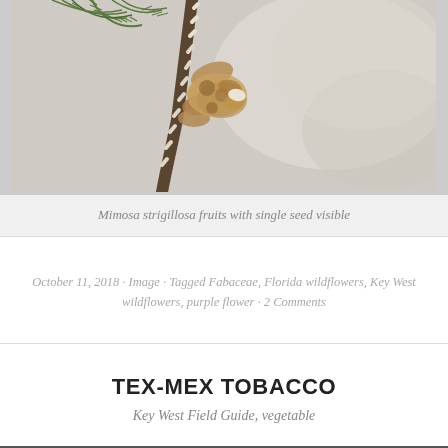[Figure (photo): Close-up photograph of Mimosa strigillosa fruits with green feathery foliage and seed pods visible, blurred background]
Mimosa strigillosa fruits with single seed visible
October 11, 2018 · Image · Tagged Fabaceae, Florida wildflowers, Key West wildflowers, purple flower · 2 Comments
TEX-MEX TOBACCO
Key West Field Guide, vegetable